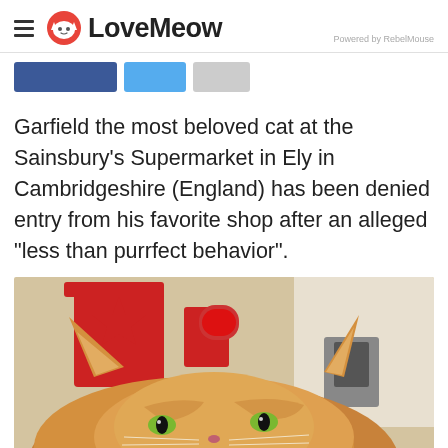LoveMeow — Powered by RebelMouse
[Figure (other): Social share buttons: dark blue Facebook button, light blue Twitter button, gray button]
Garfield the most beloved cat at the Sainsbury's Supermarket in Ely in Cambridgeshire (England) has been denied entry from his favorite shop after an alleged "less than purrfect behavior".
[Figure (photo): Close-up photo of an orange tabby cat (Garfield) peering over a red counter inside a Sainsbury's supermarket, with red store displays visible in the background.]